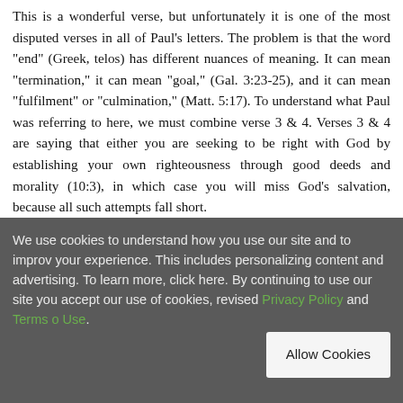This is a wonderful verse, but unfortunately it is one of the most disputed verses in all of Paul's letters. The problem is that the word “end” (Greek, telos) has different nuances of meaning. It can mean “termination,” it can mean “goal,” (Gal. 3:23-25), and it can mean “fulfilment” or “culmination,” (Matt. 5:17). To understand what Paul was referring to here, we must combine verse 3 & 4. Verses 3 & 4 are saying that either you are seeking to be right with God by establishing your own righteousness through good deeds and morality (10:3), in which case you will miss God’s salvation, because all such attempts fall short.
We use cookies to understand how you use our site and to improve your experience. This includes personalizing content and advertising. To learn more, click here. By continuing to use our site you accept our use of cookies, revised Privacy Policy and Terms of Use.